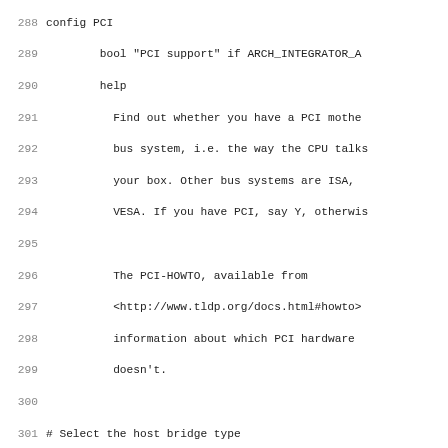288	config PCI
289		bool "PCI support" if ARCH_INTEGRATOR_A
290		help
291			Find out whether you have a PCI mothe
292			bus system, i.e. the way the CPU talks
293			your box. Other bus systems are ISA, 
294			VESA. If you have PCI, say Y, otherwis
295
296			The PCI-HOWTO, available from
297			<http://www.tldp.org/docs.html#howto>
298			information about which PCI hardware 
299			doesn't.
300
301	# Select the host bridge type
302	config PCI_HOST_VIA82C505
303		bool
304		depends on PCI && ARCH_SHARK
305		default y
306
307	source "drivers/pci/Kconfig"
308
309	source "drivers/pcmcia/Kconfig"